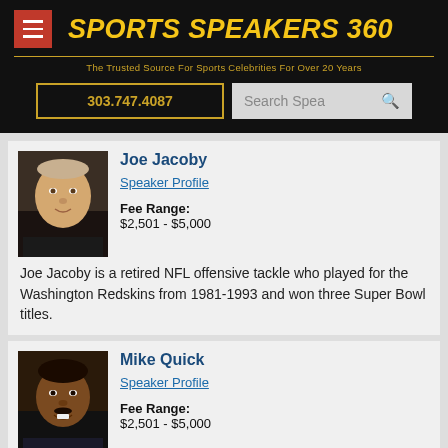SPORTS SPEAKERS 360 — The Trusted Source For Sports Celebrities For Over 20 Years
303.747.4087
Search Speak
Joe Jacoby
Speaker Profile
Fee Range: $2,501 - $5,000
Joe Jacoby is a retired NFL offensive tackle who played for the Washington Redskins from 1981-1993 and won three Super Bowl titles.
Mike Quick
Speaker Profile
Fee Range: $2,501 - $5,000